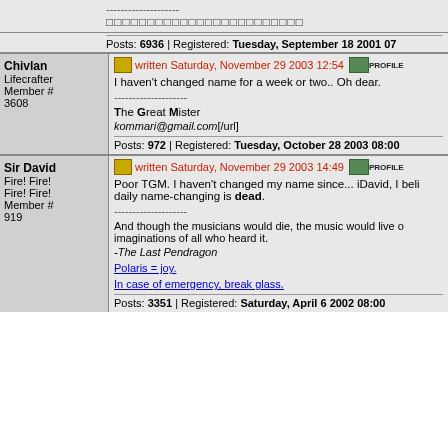Posts: 6936 | Registered: Tuesday, September 18 2001 07
Chivlan
Lifecrafter
Member # 3608
written Saturday, November 29 2003 12:54
I haven't changed name for a week or two.. Oh dear.
The Great Mister
kommari@gmail.com[/url]
Posts: 972 | Registered: Tuesday, October 28 2003 08:00
Sir David
Fire! Fire! Fire! Fire!
Member # 919
written Saturday, November 29 2003 14:49
Poor TGM. I haven't changed my name since... iDavid, I beli daily name-changing is dead.
And though the musicians would die, the music would live o imaginations of all who heard it.
-The Last Pendragon
Polaris = joy.
In case of emergency, break glass.
Posts: 3351 | Registered: Saturday, April 6 2002 08:00